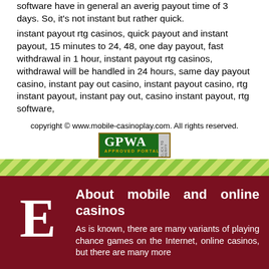software have in general an averig payout time of 3 days. So, it's not instant but rather quick.
instant payout rtg casinos, quick payout and instant payout, 15 minutes to 24, 48, one day payout, fast withdrawal in 1 hour, instant payout rtg casinos, withdrawal will be handled in 24 hours, same day payout casino, instant pay out casino, instant payout casino, rtg instant payout, instant pay out, casino instant payout, rtg software,
copyright © www.mobile-casinoplay.com. All rights reserved.
[Figure (logo): GPWA Approved Portal badge]
[Figure (other): Green diagonal stripe decorative bar]
E
About mobile and online casinos
As is known, there are many variants of playing chance games on the Internet, online casinos, but there are many more